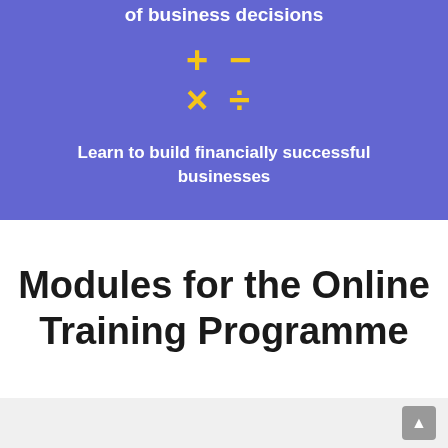of business decisions
[Figure (illustration): Yellow math operator symbols: plus, minus, multiply, divide arranged in a 2x2 grid]
Learn to build financially successful businesses
Modules for the Online Training Programme